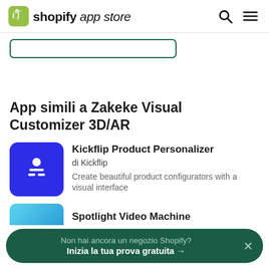shopify app store
[Figure (screenshot): Partially visible green-outlined button]
App simili a Zakeke Visual Customizer 3D/AR
[Figure (logo): Kickflip Product Personalizer app icon — blue square with white human figure icon]
Kickflip Product Personalizer
di Kickflip
Create beautiful product configurators with a visual interface
[Figure (screenshot): Partially visible Spotlight Video Machine app icon]
Spotlight Video Machine
Non hai ancora un negozio Shopify? Inizia la tua prova gratuita →